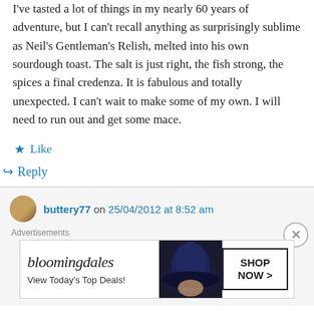I've tasted a lot of things in my nearly 60 years of adventure, but I can't recall anything as surprisingly sublime as Neil's Gentleman's Relish, melted into his own sourdough toast. The salt is just right, the fish strong, the spices a final credenza. It is fabulous and totally unexpected. I can't wait to make some of my own. I will need to run out and get some mace.
★ Like
↳ Reply
buttery77 on 25/04/2012 at 8:52 am
[Figure (screenshot): Bloomingdale's advertisement banner: 'View Today's Top Deals! SHOP NOW >']